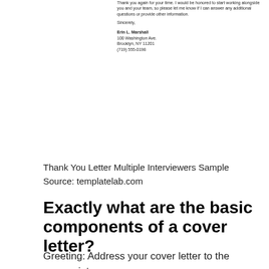Thank you again for your time. I would be honored to start working alongside you and your team, so please let me know if I can answer any additional questions or provide other information.

Sincerely,

Erin L. Marshall
100 Washington Ave.
Brooklyn, NY 11201
(719) 555-0198
Thank You Letter Multiple Interviewers Sample Source: templatelab.com
Exactly what are the basic components of a cover letter?
Greeting: Address your cover letter to the appropriate person.